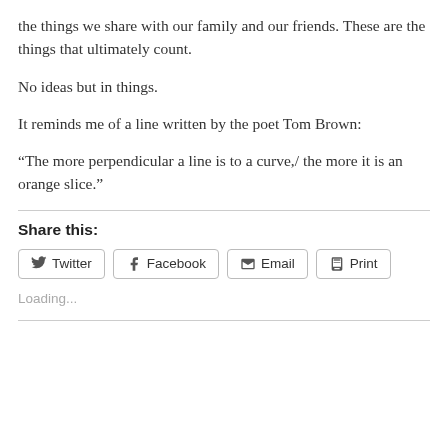the things we share with our family and our friends. These are the things that ultimately count.
No ideas but in things.
It reminds me of a line written by the poet Tom Brown:
“The more perpendicular a line is to a curve,/ the more it is an orange slice.”
Share this:
Twitter  Facebook  Email  Print
Loading...